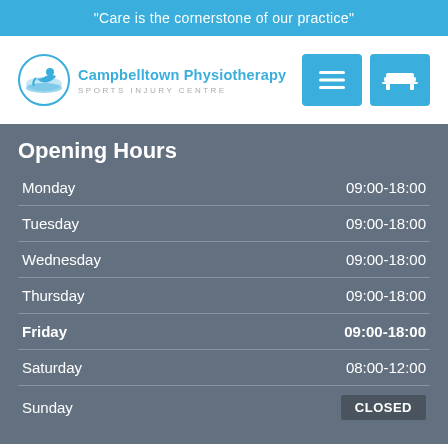"Care is the cornerstone of our practice"
[Figure (logo): Campbelltown Physiotherapy Sports Injury Centre logo with circular emblem and blue text]
Opening Hours
| Day | Hours |
| --- | --- |
| Monday | 09:00-18:00 |
| Tuesday | 09:00-18:00 |
| Wednesday | 09:00-18:00 |
| Thursday | 09:00-18:00 |
| Friday | 09:00-18:00 |
| Saturday | 08:00-12:00 |
| Sunday | CLOSED |